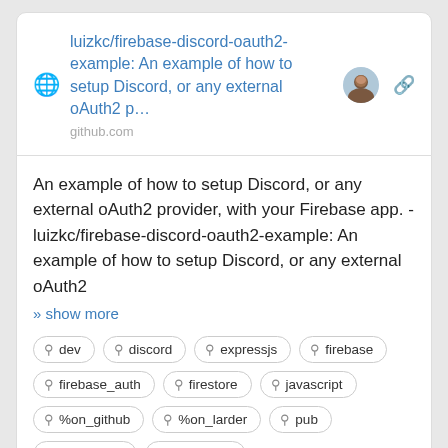luizkc/firebase-discord-oauth2-example: An example of how to setup Discord, or any external oAuth2 p…
github.com
An example of how to setup Discord, or any external oAuth2 provider, with your Firebase app. - luizkc/firebase-discord-oauth2-example: An example of how to setup Discord, or any external oAuth2
» show more
dev
discord
expressjs
firebase
firebase_auth
firestore
javascript
%on_github
%on_larder
pub
references
web_apps